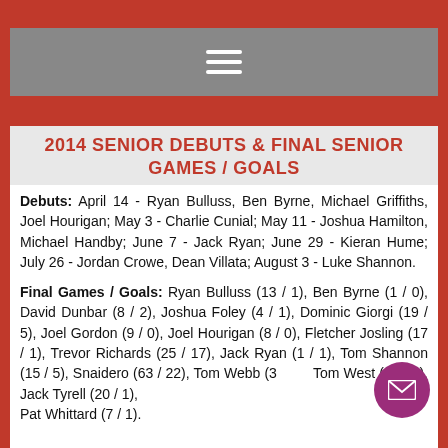Navigation bar with hamburger menu
2014 SENIOR DEBUTS & FINAL SENIOR GAMES / GOALS
Debuts: April 14 - Ryan Bulluss, Ben Byrne, Michael Griffiths, Joel Hourigan; May 3 - Charlie Cunial; May 11 - Joshua Hamilton, Michael Handby; June 7 - Jack Ryan; June 29 - Kieran Hume; July 26 - Jordan Crowe, Dean Villata; August 3 - Luke Shannon.
Final Games / Goals: Ryan Bulluss (13 / 1), Ben Byrne (1 / 0), David Dunbar (8 / 2), Joshua Foley (4 / 1), Dominic Giorgi (19 / 5), Joel Gordon (9 / 0), Joel Hourigan (8 / 0), Fletcher Josling (17 / 1), Trevor Richards (25 / 17), Jack Ryan (1 / 1), Tom Shannon (15 / 5), Snaidero (63 / 22), Tom Webb (3...), Tom West (35 / 2), Jack Tyrell (20 / 1), Pat Whittard (7 / 1).